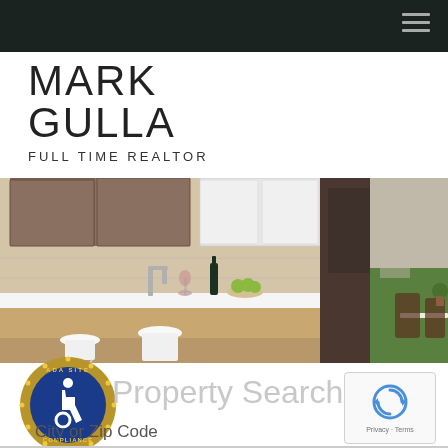MARK GULLA - Navigation header with hamburger menu
MARK GULLA
FULL TIME REALTOR
[Figure (photo): Modern kitchen interior with dark cabinetry, island with bar stools, wine bottle, fruit bowl, and outdoor dining area visible through window]
Property Search
[Figure (logo): ADA Site Compliance badge - circular gold and blue seal with wheelchair accessibility symbol]
City or Zip Code
[Figure (other): reCAPTCHA widget showing reload icon, Privacy and Terms links]